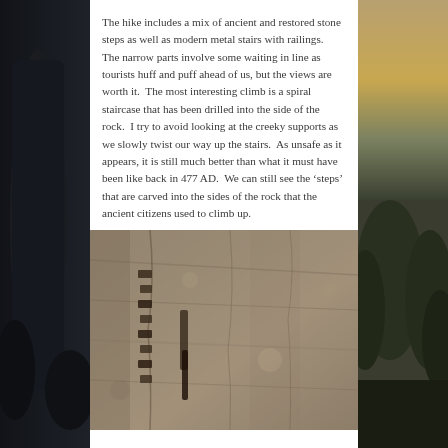[Figure (photo): Background photo split view: left side shows a dark stone monolith with trees and dusky sky, right side shows trees against a cloudy golden sky]
The hike includes a mix of ancient and restored stone steps as well as modern metal stairs with railings.  The narrow parts involve some waiting in line as tourists huff and puff ahead of us, but the views are worth it.  The most interesting climb is a spiral staircase that has been drilled into the side of the rock.  I try to avoid looking at the creeky supports as we slowly twist our way up the stairs.  As unsafe as it appears, it is still much better than what it must have been like back in 477 AD.  We can still see the ‘steps’ that are carved into the sides of the rock that the ancient citizens used to climb up.
[Figure (photo): Close-up photograph of ancient carved rock face showing small rectangular niches or steps carved into the stone surface, with rough textured rock detail]